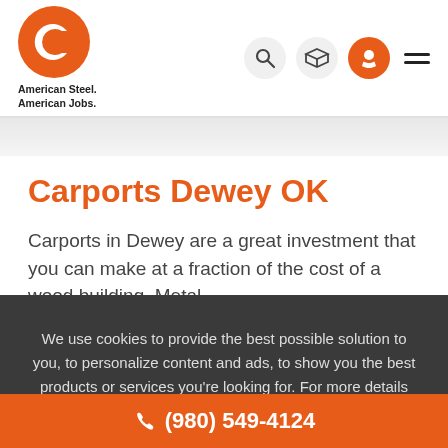[Figure (logo): Central Steel Buildings logo — orange circle with white C letter, with tagline 'American Steel. American Jobs.' below]
Carports Dewey OK
Carports in Dewey are a great investment that you can make at a fraction of the cost of a wood building. Metal
We use cookies to provide the best possible solution to you, to personalize content and ads, to show you the best products or services you're looking for. For more details visit Privacy Policy.
OK, THANKS
(980) 549-4124